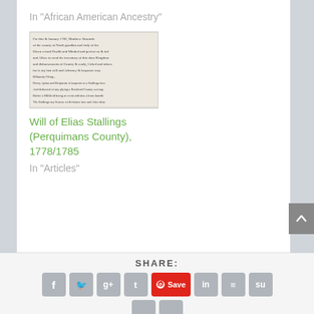In "African American Ancestry"
[Figure (photo): Handwritten historical document - Will of Elias Stallings]
Will of Elias Stallings (Perquimans County), 1778/1785
In "Articles"
SHARE:
[Figure (infographic): Social share buttons: Facebook, Twitter, Google+, Tumblr, Pinterest Save, LinkedIn, Buffer, StumbleUpon, and more]